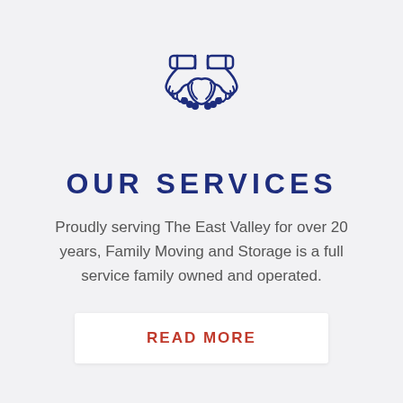[Figure (illustration): Two hands shaking (handshake icon) drawn in dark navy blue outline style]
OUR SERVICES
Proudly serving The East Valley for over 20 years, Family Moving and Storage is a full service family owned and operated.
READ MORE